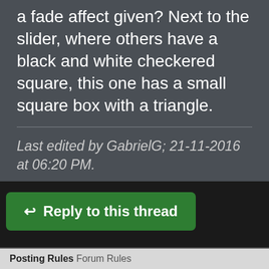a fade affect given? Next to the slider, where others have a black and white checkered square, this one has a small square box with a triangle.
Last edited by GabrielG; 21-11-2016 at 06:20 PM.
[Figure (illustration): Yellow generic user avatar icon (circle head and body silhouette)]
Quote
Reply to this thread
Posting Rules Forum Rules